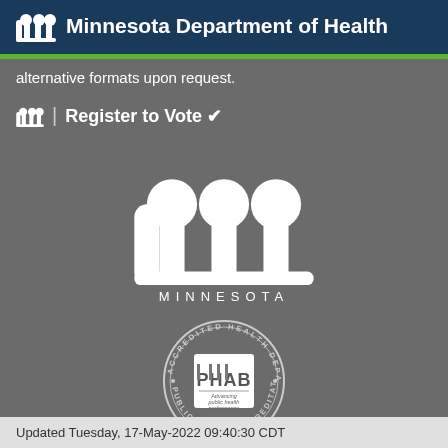Minnesota Department of Health
alternative formats upon request.
mn | Register to Vote ✓
[Figure (logo): Minnesota state logo — large white stylized 'm' shape with MINNESOTA text below]
[Figure (logo): PHAB Accredited Health Department seal — Public Health Accreditation Board circular badge with PHAB logo in center]
Updated Tuesday, 17-May-2022 09:40:30 CDT